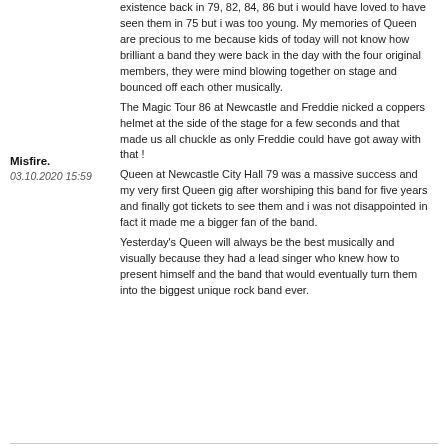existence back in 79, 82, 84, 86 but i would have loved to have seen them in 75 but i was too young. My memories of Queen are precious to me because kids of today will not know how brilliant a band they were back in the day with the four original members, they were mind blowing together on stage and bounced off each other musically.
Misfire.
03.10.2020 15:59
The Magic Tour 86 at Newcastle and Freddie nicked a coppers helmet at the side of the stage for a few seconds and that made us all chuckle as only Freddie could have got away with that !
Queen at Newcastle City Hall 79 was a massive success and my very first Queen gig after worshiping this band for five years and finally got tickets to see them and i was not disappointed in fact it made me a bigger fan of the band.
Yesterday's Queen will always be the best musically and visually because they had a lead singer who knew how to present himself and the band that would eventually turn them into the biggest unique rock band ever.